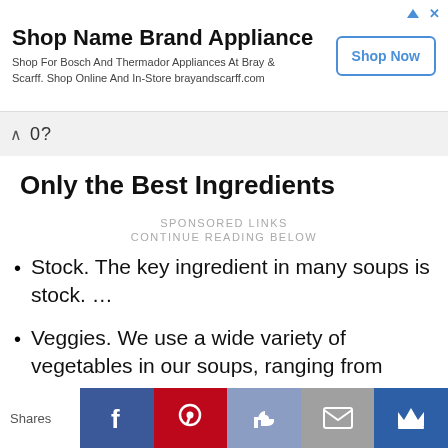[Figure (screenshot): Advertisement banner: 'Shop Name Brand Appliance' with subtitle 'Shop For Bosch And Thermador Appliances At Bray & Scarff. Shop Online And In-Store brayandscarff.com' and a 'Shop Now' button. AdChoices icon top right.]
[Figure (screenshot): Browser navigation bar showing a chevron/up arrow and partial URL text '0?']
Only the Best Ingredients
SPONSORED LINKS
CONTINUE READING BELOW
Stock. The key ingredient in many soups is stock. …
Veggies. We use a wide variety of vegetables in our soups, ranging from
[Figure (screenshot): Social sharing bar at bottom: 'Shares' label followed by Facebook (blue), Pinterest (red), Like/thumbs-up (steel blue), Email (grey), and Crown (dark blue) buttons.]